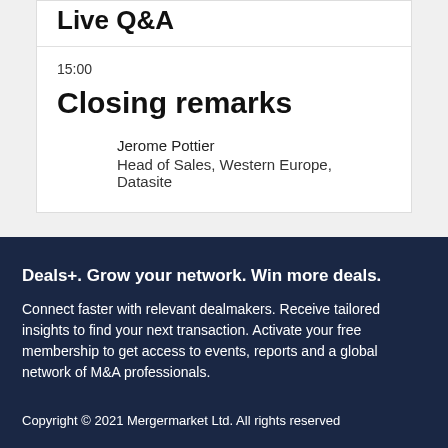Live Q&A
15:00
Closing remarks
Jerome Pottier
Head of Sales, Western Europe, Datasite
Deals+. Grow your network. Win more deals.
Connect faster with relevant dealmakers. Receive tailored insights to find your next transaction. Activate your free membership to get access to events, reports and a global network of M&A professionals.
Copyright © 2021 Mergermarket Ltd. All rights reserved